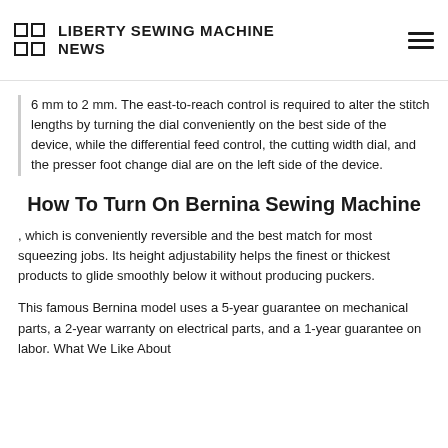LIBERTY SEWING MACHINE NEWS
6 mm to 2 mm. The east-to-reach control is required to alter the stitch lengths by turning the dial conveniently on the best side of the device, while the differential feed control, the cutting width dial, and the presser foot change dial are on the left side of the device.
How To Turn On Bernina Sewing Machine
, which is conveniently reversible and the best match for most squeezing jobs. Its height adjustability helps the finest or thickest products to glide smoothly below it without producing puckers.
This famous Bernina model uses a 5-year guarantee on mechanical parts, a 2-year warranty on electrical parts, and a 1-year guarantee on labor. What We Like About